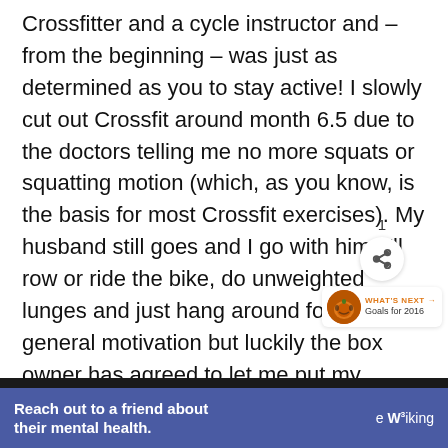Crossfitter and a cycle instructor and – from the beginning – was just as determined as you to stay active! I slowly cut out Crossfit around month 6.5 due to the doctors telling me no more squats or squatting motion (which, as you know, is the basis for most Crossfit exercises). My husband still goes and I go with him, I'll row or ride the bike, do unweighted lunges and just hang around for some general motivation but luckily the box owner has agreed to let me put my membership on hold. I am still teaching cycle and attend classes at least 3-4
[Figure (other): Heart/like button (teal circle with heart icon), like count '1', share button (circle with share icon), and 'WHAT'S NEXT' panel with pumpkin thumbnail image and text 'Goals for 2016']
Reach out to a friend about their mental health.
e W3iking